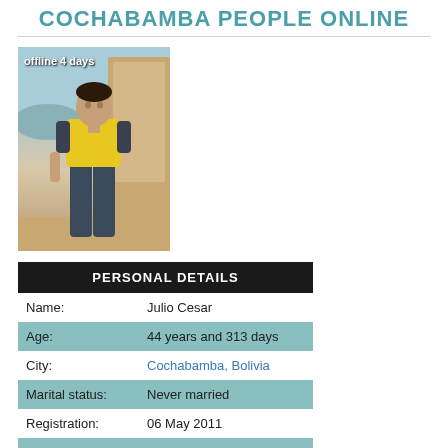COCHABAMBA PEOPLE ONLINE
[Figure (photo): Young man in yellow t-shirt and dark jeans standing indoors, with 'offline 4 days' overlay text]
| Field | Value |
| --- | --- |
| Name: | Julio Cesar |
| Age: | 44 years and 313 days |
| City: | Cochabamba, Bolivia |
| Marital status: | Never married |
| Registration: | 06 May 2011 |